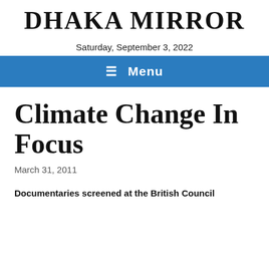DHAKA MIRROR
Saturday, September 3, 2022
≡ Menu
Climate Change In Focus
March 31, 2011
Documentaries screened at the British Council